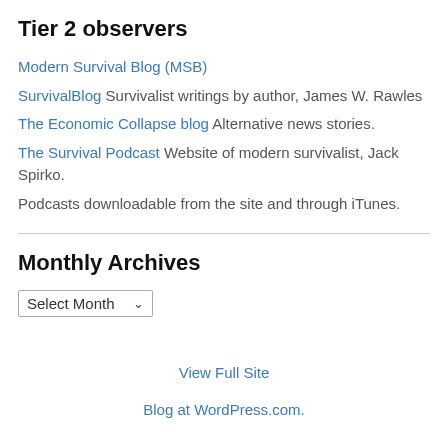Tier 2 observers
Modern Survival Blog (MSB)
SurvivalBlog Survivalist writings by author, James W. Rawles
The Economic Collapse blog Alternative news stories.
The Survival Podcast Website of modern survivalist, Jack Spirko.
Podcasts downloadable from the site and through iTunes.
Monthly Archives
Select Month
View Full Site
Blog at WordPress.com.